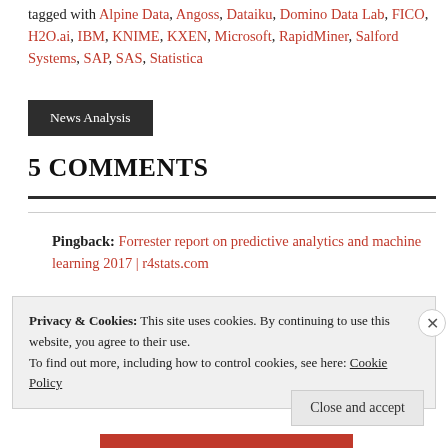tagged with Alpine Data, Angoss, Dataiku, Domino Data Lab, FICO, H2O.ai, IBM, KNIME, KXEN, Microsoft, RapidMiner, Salford Systems, SAP, SAS, Statistica
News Analysis
5 COMMENTS
Pingback: Forrester report on predictive analytics and machine learning 2017 | r4stats.com
Privacy & Cookies: This site uses cookies. By continuing to use this website, you agree to their use. To find out more, including how to control cookies, see here: Cookie Policy
Close and accept